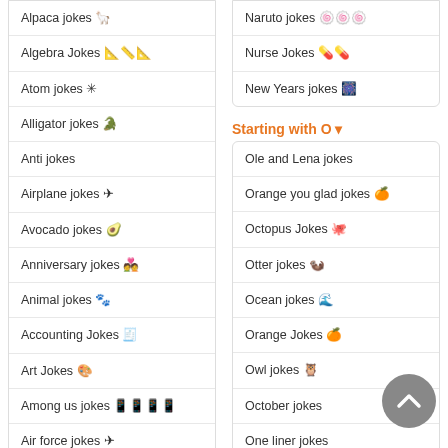Alpaca jokes 🦙
Algebra Jokes 📐📏📐
Atom jokes ✳
Alligator jokes 🐊
Anti jokes
Airplane jokes ✈
Avocado jokes 🥑
Anniversary jokes 💑
Animal jokes 🐾
Accounting Jokes 🧾
Art Jokes 🎨
Among us jokes 📱📱📱📱
Air force jokes ✈
Starting with B ▾
Naruto jokes 🍥🍥🍥
Nurse Jokes 💊💊
New Years jokes 🎆
Starting with O ▾
Ole and Lena jokes
Orange you glad jokes 🍊
Octopus Jokes 🐙
Otter jokes 🦦
Ocean jokes 🌊
Orange Jokes 🍊
Owl jokes 🦉
October jokes
One liner jokes
Starting with P ▾